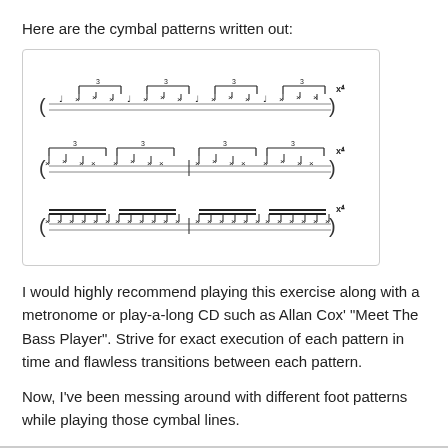Here are the cymbal patterns written out:
[Figure (illustration): Three rows of drum/cymbal notation patterns in a bordered box, each row showing a percussion staff with notes and beam groupings, each marked x4 at the right end.]
I would highly recommend playing this exercise along with a metronome or play-a-long CD such as Allan Cox' "Meet The Bass Player". Strive for exact execution of each pattern in time and flawless transitions between each pattern.
Now, I've been messing around with different foot patterns while playing those cymbal lines.
Trying the following feet patterns along with those cymbal exercises: